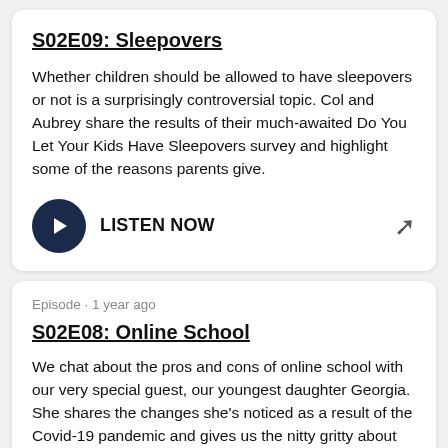S02E09: Sleepovers
Whether children should be allowed to have sleepovers or not is a surprisingly controversial topic. Col and Aubrey share the results of their much-awaited Do You Let Your Kids Have Sleepovers survey and highlight some of the reasons parents give.
LISTEN NOW
Episode · 1 year ago
S02E08: Online School
We chat about the pros and cons of online school with our very special guest, our youngest daughter Georgia. She shares the changes she's noticed as a result of the Covid-19 pandemic and gives us the nitty gritty about navigating the roller coaster of hybrid, in-